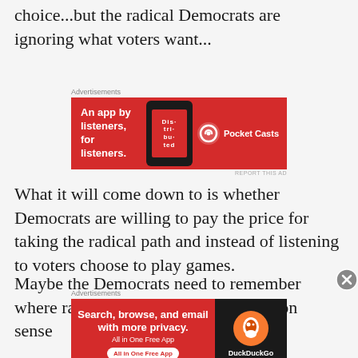choice...but the radical Democrats are ignoring what voters want...
[Figure (screenshot): Pocket Casts advertisement banner: red background with phone graphic, text 'An app by listeners, for listeners.' and Pocket Casts logo]
What it will come down to is whether Democrats are willing to pay the price for taking the radical path and instead of listening to voters choose to play games.
Maybe the Democrats need to remember where radical positions against common sense
[Figure (screenshot): DuckDuckGo advertisement banner: left side red with text 'Search, browse, and email with more privacy. All in One Free App', right side dark with DuckDuckGo logo]